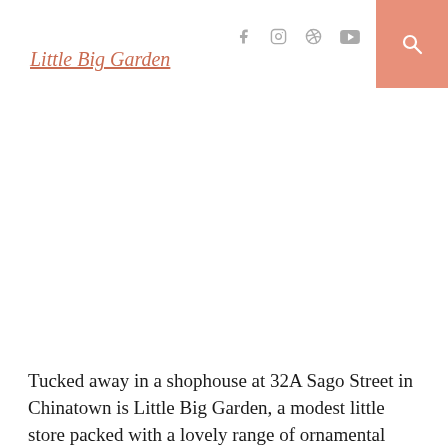Little Big Garden
[Figure (photo): Large image area showing Little Big Garden store, mostly white/blank in this crop]
Tucked away in a shophouse at 32A Sago Street in Chinatown is Little Big Garden, a modest little store packed with a lovely range of ornamental plants and pots. The plants come in attractive pots, and pots can be